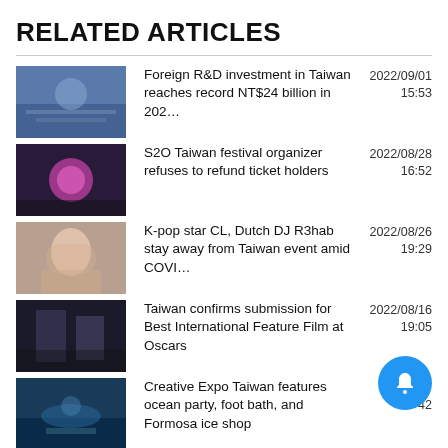RELATED ARTICLES
Foreign R&D investment in Taiwan reaches record NT$24 billion in 202…
S2O Taiwan festival organizer refuses to refund ticket holders
K-pop star CL, Dutch DJ R3hab stay away from Taiwan event amid COVI…
Taiwan confirms submission for Best International Feature Film at Oscars
Creative Expo Taiwan features ocean party, foot bath, and Formosa ice shop